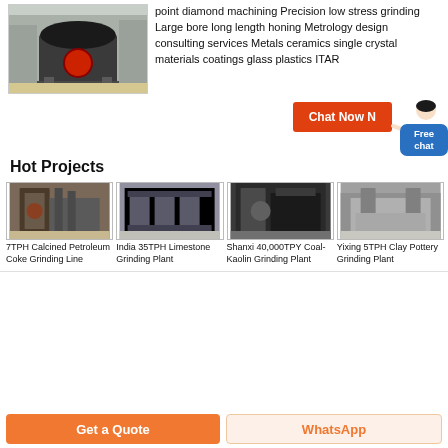[Figure (photo): Industrial grinding machine (cone crusher or mill) in a factory setting, photographed from below/side angle, large black cylindrical top with red circular element.]
point diamond machining Precision low stress grinding Large bore long length honing Metrology design consulting services Metals ceramics single crystal materials coatings glass plastics ITAR
[Figure (other): Chat Now button with a customer service representative illustration and Free chat blue badge]
Hot Projects
[Figure (photo): 7TPH Calcined Petroleum Coke Grinding Line - industrial machinery in factory]
7TPH Calcined Petroleum Coke Grinding Line
[Figure (photo): India 35TPH Limestone Grinding Plant - industrial equipment]
India 35TPH Limestone Grinding Plant
[Figure (photo): Shanxi 40,000TPY Coal-Kaolin Grinding Plant - industrial structure]
Shanxi 40,000TPY Coal-Kaolin Grinding Plant
[Figure (photo): Yixing 5TPH Clay Pottery Grinding Plant - industrial facility]
Yixing 5TPH Clay Pottery Grinding Plant
Get a Quote
WhatsApp